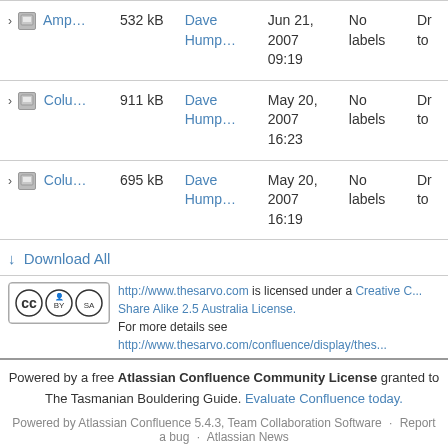| Name | Size | Author | Date | Labels | Action |
| --- | --- | --- | --- | --- | --- |
| > [img] Amp... | 532 kB | Dave Hump... | Jun 21, 2007 09:19 | No labels | Dr... to... |
| > [img] Colu... | 911 kB | Dave Hump... | May 20, 2007 16:23 | No labels | Dr... to... |
| > [img] Colu... | 695 kB | Dave Hump... | May 20, 2007 16:19 | No labels | Dr... to... |
↓ Download All
http://www.thesarvo.com is licensed under a Creative C... Share Alike 2.5 Australia License. For more details see http://www.thesarvo.com/confluence/display/thes...
Powered by a free Atlassian Confluence Community License granted to The Tasmanian Bouldering Guide. Evaluate Confluence today.
Powered by Atlassian Confluence 5.4.3, Team Collaboration Software · Report a bug · Atlassian News